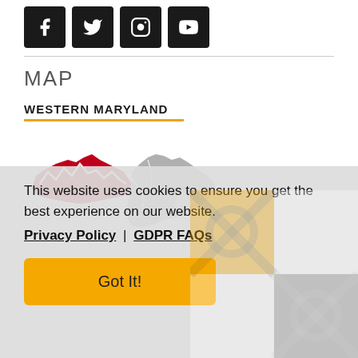[Figure (other): Social media icons: Facebook, Twitter, Instagram, YouTube — black square buttons]
MAP
WESTERN MARYLAND
[Figure (map): Map of Maryland with Western Maryland highlighted in red/crimson and eastern counties in gray]
This website uses cookies to ensure you get the best experience on our website.
Privacy Policy | GDPR FAQs
Got It!